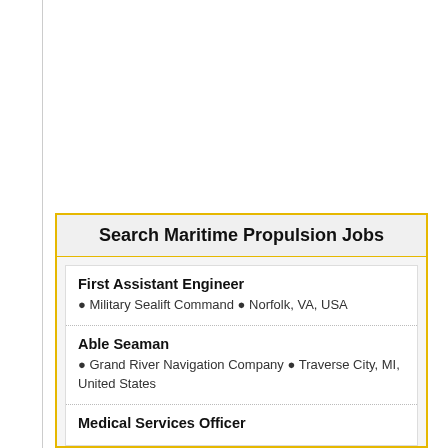Search Maritime Propulsion Jobs
First Assistant Engineer • Military Sealift Command • Norfolk, VA, USA
Able Seaman • Grand River Navigation Company • Traverse City, MI, United States
Medical Services Officer